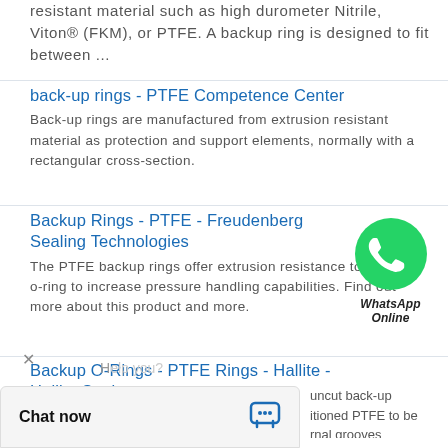resistant material such as high durometer Nitrile, Viton® (FKM), or PTFE. A backup ring is designed to fit between ...
back-up rings - PTFE Competence Center
Back-up rings are manufactured from extrusion resistant material as protection and support elements, normally with a rectangular cross-section.
Backup Rings - PTFE - Freudenberg Sealing Technologies
[Figure (logo): WhatsApp Online green circle icon with phone handset, labeled WhatsApp Online]
The PTFE backup rings offer extrusion resistance to a paired o-ring to increase pressure handling capabilities. Find out more about this product and more.
Backup O-Rings - PTFE Rings - Hallite - Hallite Seals
uncut back-up itioned PTFE to be rnal grooves
[Figure (screenshot): Chat now widget bar at bottom of page with chat icon]